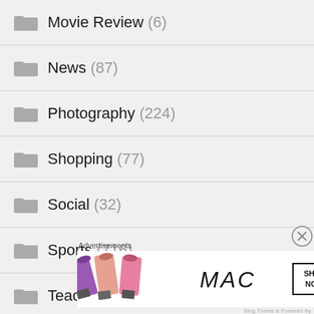Movie Review (6)
News (87)
Photography (224)
Shopping (77)
Social (32)
Sports (716)
Teaching (9)
Travel (154)
Advertisements
[Figure (screenshot): MAC cosmetics advertisement banner with lipsticks and SHOP NOW button]